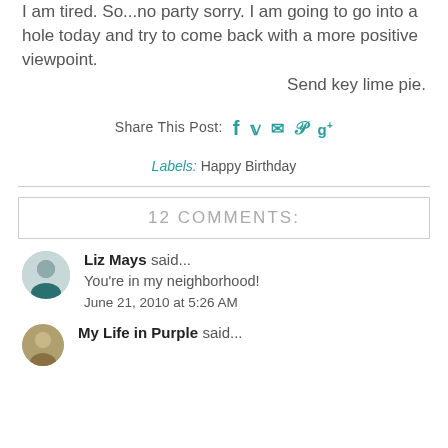I am tired. So...no party sorry. I am going to go into a hole today and try to come back with a more positive viewpoint.
Send key lime pie.
Share This Post: [social icons]
Labels: Happy Birthday
12 COMMENTS:
Liz Mays said...
You're in my neighborhood!
June 21, 2010 at 5:26 AM
My Life in Purple said...